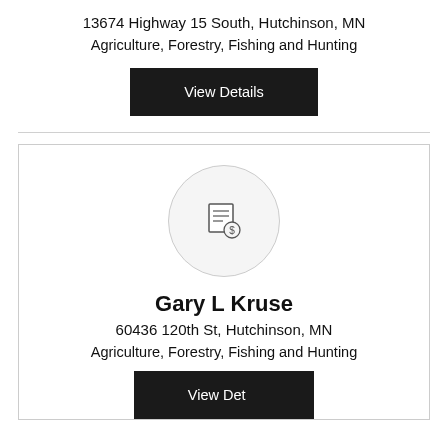13674 Highway 15 South, Hutchinson, MN
Agriculture, Forestry, Fishing and Hunting
[Figure (other): Black 'View Details' button]
[Figure (other): Profile avatar circle with document/money icon]
Gary L Kruse
60436 120th St, Hutchinson, MN
Agriculture, Forestry, Fishing and Hunting
[Figure (other): Black 'View Details' button (partially visible)]